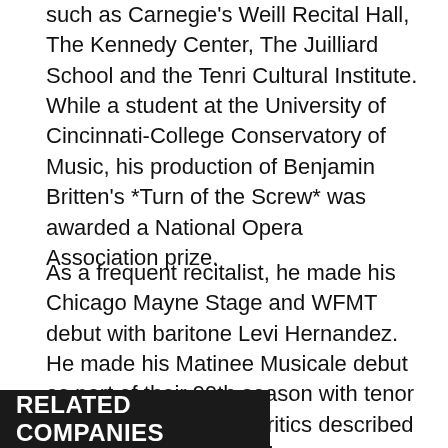such as Carnegie's Weill Recital Hall, The Kennedy Center, The Juilliard School and the Tenri Cultural Institute. While a student at the University of Cincinnati-College Conservatory of Music, his production of Benjamin Britten's *Turn of the Screw* was awarded a National Opera Association prize.
As a frequent recitalist, he made his Chicago Mayne Stage and WFMT debut with baritone Levi Hernandez. He made his Matinee Musicale debut as part of their 99th season with tenor Scott Ramsey, which critics described as “ravishing – a superb collaboration.”
RELATED COMPANIES